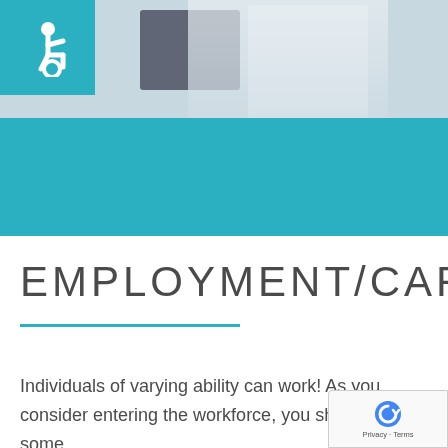[Figure (photo): Header photo showing a pharmacy worker in a white coat at a computer workstation, with shelves of products in background. Accessibility wheelchair icon in top-left corner on teal background.]
EMPLOYMENT/CAREE
Individuals of varying ability can work! As you consider entering the workforce, you should do some